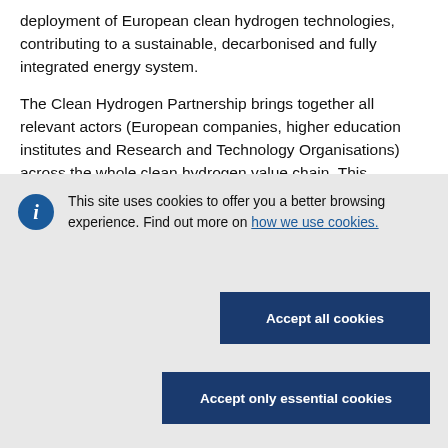deployment of European clean hydrogen technologies, contributing to a sustainable, decarbonised and fully integrated energy system.
The Clean Hydrogen Partnership brings together all relevant actors (European companies, higher education institutes and Research and Technology Organisations) across the whole clean hydrogen value chain. This
This site uses cookies to offer you a better browsing experience. Find out more on how we use cookies.
Accept all cookies
Accept only essential cookies